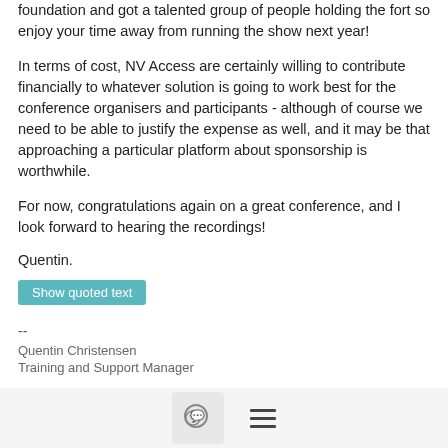foundation and got a talented group of people holding the fort so enjoy your time away from running the show next year!
In terms of cost, NV Access are certainly willing to contribute financially to whatever solution is going to work best for the conference organisers and participants - although of course we need to be able to justify the expense as well, and it may be that approaching a particular platform about sponsorship is worthwhile.
For now, congratulations again on a great conference, and I look forward to hearing the recordings!
Quentin.
Show quoted text
--
Quentin Christensen
Training and Support Manager